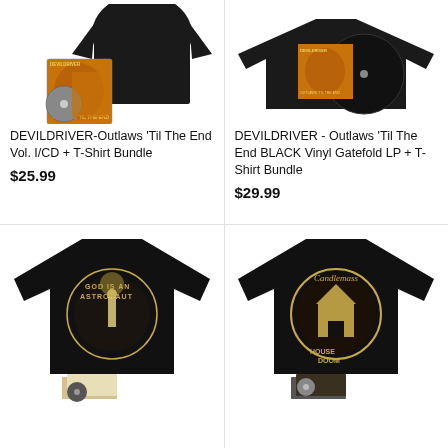[Figure (photo): DEVILDRIVER Outlaws 'Til The End Vol. I product bundle showing CD and black t-shirt with album artwork]
DEVILDRIVER-Outlaws 'Til The End Vol. I/CD + T-Shirt Bundle
$25.99
[Figure (photo): DEVILDRIVER Outlaws 'Til The End BLACK Vinyl Gatefold LP and t-shirt bundle showing vinyl record and t-shirt]
DEVILDRIVER - Outlaws 'Til The End BLACK Vinyl Gatefold LP + T-Shirt Bundle
$29.99
[Figure (photo): God Is An Astronaut black t-shirt with circular artwork and CD bundle]
[Figure (photo): Candlemass House of Doom black t-shirt with logo and CD bundle]